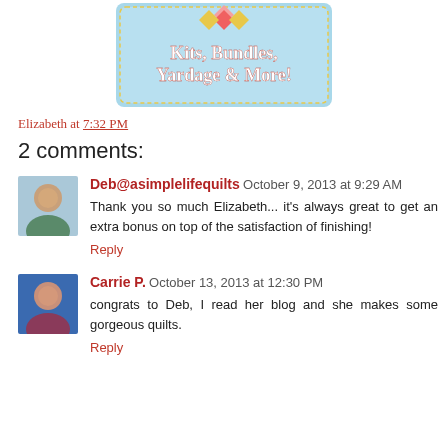[Figure (illustration): A decorative banner/advertisement image showing a quilt pattern logo at top, light blue scalloped border background, with text 'Kits, Bundles, Yardage & More!' in white serif font.]
Elizabeth at 7:32 PM
2 comments:
Deb@asimplelifequilts October 9, 2013 at 9:29 AM
Thank you so much Elizabeth... it's always great to get an extra bonus on top of the satisfaction of finishing!
Reply
Carrie P. October 13, 2013 at 12:30 PM
congrats to Deb, I read her blog and she makes some gorgeous quilts.
Reply